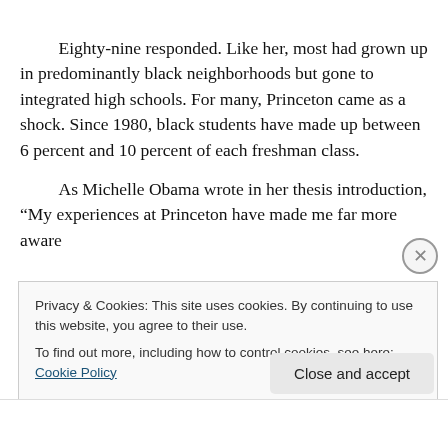Eighty-nine responded. Like her, most had grown up in predominantly black neighborhoods but gone to integrated high schools. For many, Princeton came as a shock. Since 1980, black students have made up between 6 percent and 10 percent of each freshman class.
    As Michelle Obama wrote in her thesis introduction, “My experiences at Princeton have made me far more aware
Privacy & Cookies: This site uses cookies. By continuing to use this website, you agree to their use.
To find out more, including how to control cookies, see here: Cookie Policy
Close and accept